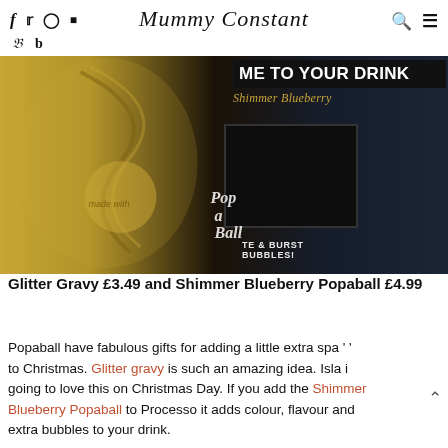Mummy Constant — social icons: f, twitter, instagram, youtube, pinterest, bloglovin, search, menu
[Figure (photo): Close-up photo of two products: a gold Glitter Gravy bottle with swirl illustration on the left, and a Shimmer Blueberry Popaball box with text 'ME TO YOUR DRINK', 'Pop a Ball', 'bite & burst bubbles']
Glitter Gravy £3.49 and Shimmer Blueberry Popaball £4.99
Popaball have fabulous gifts for adding a little extra spa ' ' to Christmas. Glitter gravy is such an amazing idea. Isla i going to love this on Christmas Day. If you add the Shimmer Blueberry Popaball to Processo it adds colour, flavour and extra bubbles to your drink.